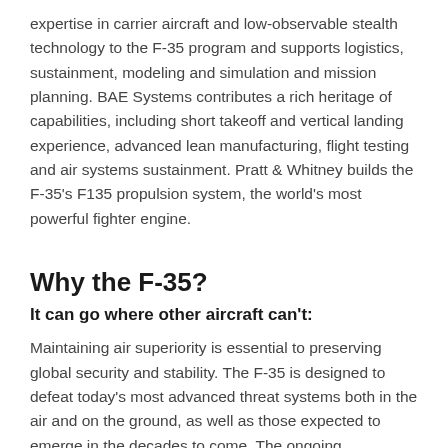expertise in carrier aircraft and low-observable stealth technology to the F-35 program and supports logistics, sustainment, modeling and simulation and mission planning. BAE Systems contributes a rich heritage of capabilities, including short takeoff and vertical landing experience, advanced lean manufacturing, flight testing and air systems sustainment. Pratt & Whitney builds the F-35's F135 propulsion system, the world's most powerful fighter engine.
Why the F-35?
It can go where other aircraft can't:
Maintaining air superiority is essential to preserving global security and stability. The F-35 is designed to defeat today's most advanced threat systems both in the air and on the ground, as well as those expected to emerge in the decades to come. The ongoing advancement of fighter aircraft designs around the world reinforces the importance of the F-35's advanced capabilities and